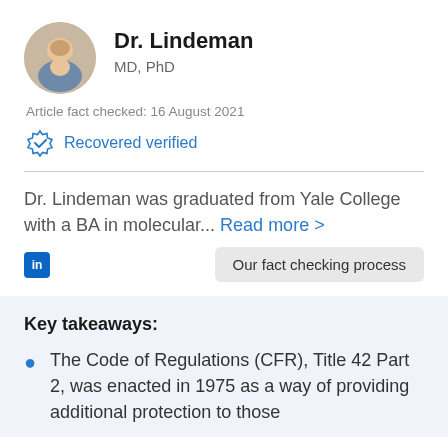[Figure (photo): Circular profile photo of Dr. Lindeman, a smiling bald man]
Dr. Lindeman
MD, PhD
Article fact checked: 16 August 2021
Recovered verified
Dr. Lindeman was graduated from Yale College with a BA in molecular... Read more >
[Figure (logo): LinkedIn icon (in logo, blue square with white 'in')]
Our fact checking process
Key takeaways:
The Code of Regulations (CFR), Title 42 Part 2, was enacted in 1975 as a way of providing additional protection to those